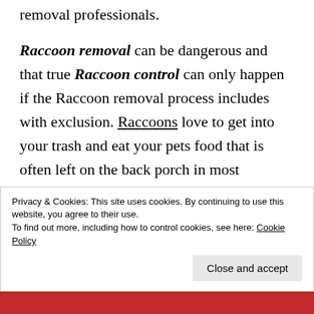removal professionals.
Raccoon removal can be dangerous and that true Raccoon control can only happen if the Raccoon removal process includes with exclusion. Raccoons love to get into your trash and eat your pets food that is often left on the back porch in most instances.
Privacy & Cookies: This site uses cookies. By continuing to use this website, you agree to their use.
To find out more, including how to control cookies, see here: Cookie Policy
Close and accept